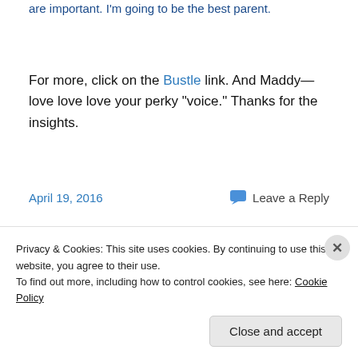are important. I'm going to be the best parent.
For more, click on the Bustle link. And Maddy—love love love your perky “voice.” Thanks for the insights.
April 19, 2016
Leave a Reply
Rye’s Reprieve, featuring a
Privacy & Cookies: This site uses cookies. By continuing to use this website, you agree to their use.
To find out more, including how to control cookies, see here: Cookie Policy